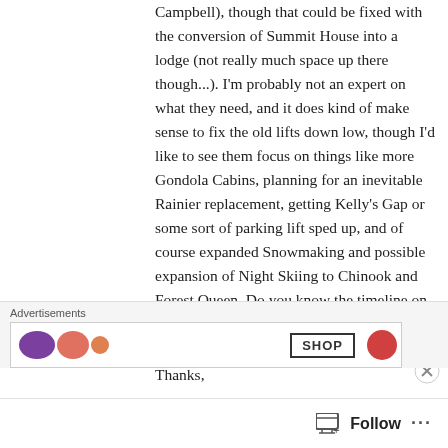Campbell), though that could be fixed with the conversion of Summit House into a lodge (not really much space up there though...). I'm probably not an expert on what they need, and it does kind of make sense to fix the old lifts down low, though I'd like to see them focus on things like more Gondola Cabins, planning for an inevitable Rainier replacement, getting Kelly's Gap or some sort of parking lift sped up, and of course expanded Snowmaking and possible expansion of Night Skiing to Chinook and Forest Queen. Do you know the timeline on some of those?
Thanks,
[Figure (other): Advertisement banner with colorful shapes and SHOP button]